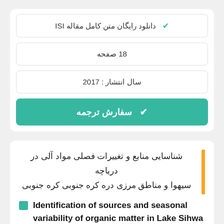✔ دانلود رایگان متن کامل مقاله ISI
18 صفحه
سال انتشار : 2017
✔ سفارش ترجمه
شناسایی منابع و تغییرات فصلی مواد آلی در دریاچه سیهوا و مناطق مرزی دره کره جنوبی کره جنوبی
Identification of sources and seasonal variability of organic matter in Lake Sihwa